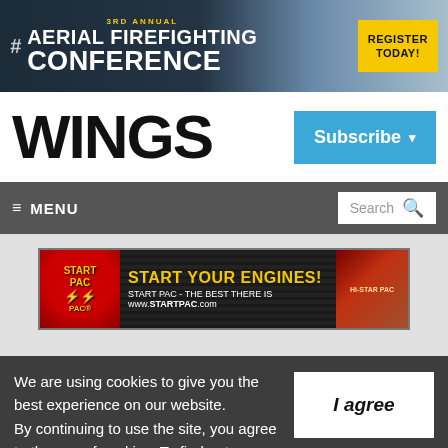[Figure (screenshot): Top advertisement banner for 3rd Annual Aerial Firefighting Conference with 'Register Today!' button]
WINGS
Subscribe
≡ MENU
Search
[Figure (screenshot): Start PAC advertisement banner: START YOUR ENGINES! START PAC - THE BEST THERE IS www.STARTPAC.com]
We are using cookies to give you the best experience on our website. By continuing to use the site, you agree to the use of cookies. To find out more, read our privacy policy.
I agree